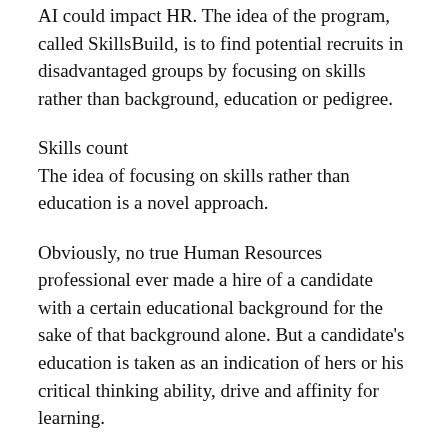AI could impact HR. The idea of the program, called SkillsBuild, is to find potential recruits in disadvantaged groups by focusing on skills rather than background, education or pedigree.
Skills count
The idea of focusing on skills rather than education is a novel approach.
Obviously, no true Human Resources professional ever made a hire of a candidate with a certain educational background for the sake of that background alone. But a candidate's education is taken as an indication of hers or his critical thinking ability, drive and affinity for learning.